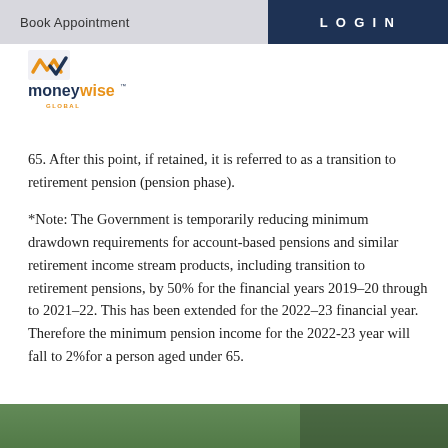Book Appointment   LOGIN
[Figure (logo): Moneywise Global logo with orange and navy checkmark]
65. After this point, if retained, it is referred to as a transition to retirement pension (pension phase).
*Note: The Government is temporarily reducing minimum drawdown requirements for account-based pensions and similar retirement income stream products, including transition to retirement pensions, by 50% for the financial years 2019–20 through to 2021–22. This has been extended for the 2022–23 financial year. Therefore the minimum pension income for the 2022-23 year will fall to 2%for a person aged under 65.
[Figure (photo): Green outdoor landscape photo at bottom of page]